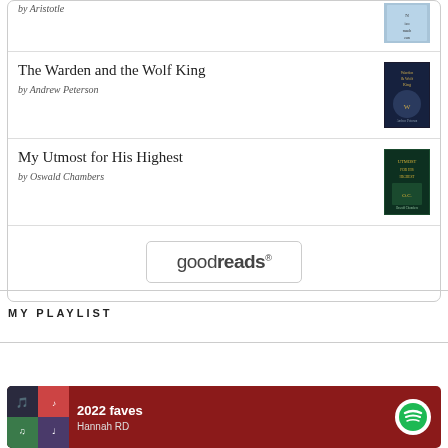The Warden and the Wolf King by Andrew Peterson
My Utmost for His Highest by Oswald Chambers
[Figure (logo): goodreads logo button with rounded rectangle border]
MY PLAYLIST
[Figure (illustration): Spotify playlist card showing '2022 faves' with red background and Spotify icon]